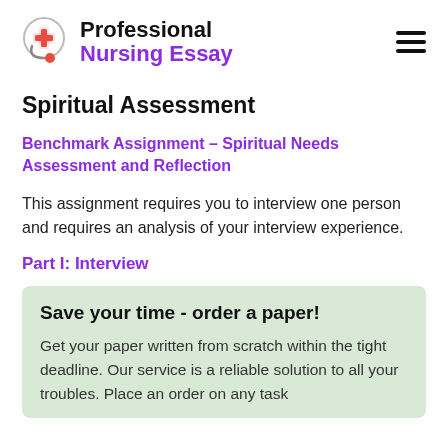Professional Nursing Essay
Spiritual Assessment
Benchmark Assignment – Spiritual Needs Assessment and Reflection
This assignment requires you to interview one person and requires an analysis of your interview experience.
Part I: Interview
Save your time - order a paper!
Get your paper written from scratch within the tight deadline. Our service is a reliable solution to all your troubles. Place an order on any task